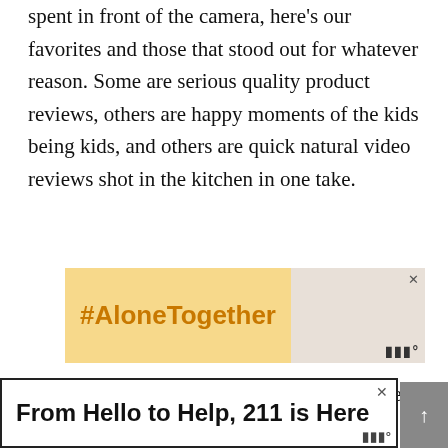spent in front of the camera, here's our favorites and those that stood out for whatever reason. Some are serious quality product reviews, others are happy moments of the kids being kids, and others are quick natural video reviews shot in the kitchen in one take.
[Figure (screenshot): Advertisement banner: left side has golden/yellow background with #AloneTogether in orange bold text; right side shows a woman in kitchen with laptop and food, with a close button X and logo mark.]
And yes 99.99% of everything is in one take. That's how we roll.
[Figure (screenshot): Bottom advertisement banner with white background and dark border reading 'From Hello to Help, 211 is Here' in bold black sans-serif text, with a close X button.]